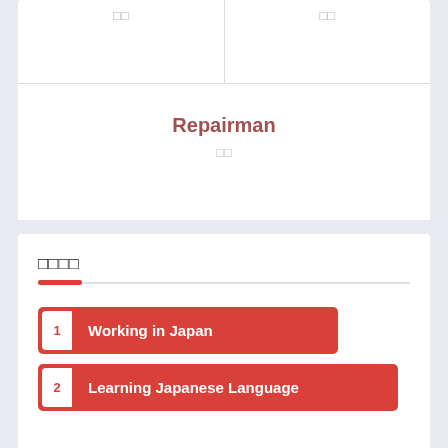| □□ | □□ |
| --- | --- |
Repairman
□□
□□□□
1 Working in Japan
2 Learning Japanese Language